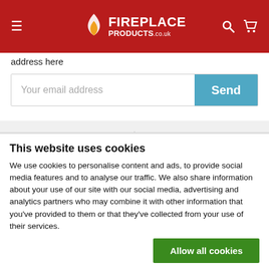[Figure (screenshot): Fireplace Products website header with red background, hamburger menu, flame logo, search and basket icons]
address here
[Figure (screenshot): Email input field with placeholder 'Your email address' and a teal 'Send' button]
[Figure (screenshot): Description and Delivery tabs with icons on a light grey background]
This website uses cookies
We use cookies to personalise content and ads, to provide social media features and to analyse our traffic. We also share information about your use of our site with our social media, advertising and analytics partners who may combine it with other information that you've provided to them or that they've collected from your use of their services.
Allow all cookies